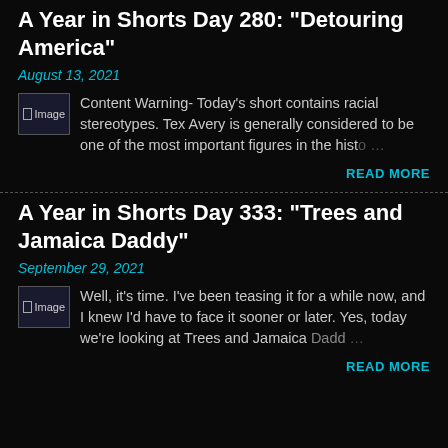A Year in Shorts Day 280: "Detouring America"
August 13, 2021
[Figure (photo): Thumbnail image placeholder]
Content Warning- Today's short contains racial stereotypes. Tex Avery is generally considered to be one of the most important figures in the histo…
READ MORE
A Year in Shorts Day 333: "Trees and Jamaica Daddy"
September 29, 2021
[Figure (photo): Thumbnail image placeholder]
Well, it's time. I've been teasing it for a while now, and I knew I'd have to face it sooner or later. Yes, today we're looking at Trees and Jamaica Dadd…
READ MORE